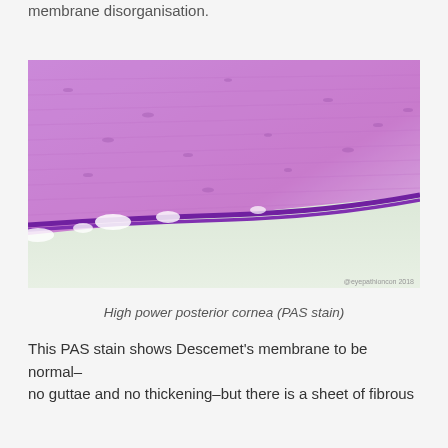membrane disorganisation.
[Figure (photo): High power microscopy image of posterior cornea with PAS stain showing Descemet's membrane as a dark purple horizontal band, with purple fibrous corneal stroma above and pale greenish area below. Watermark reads '@eyepathioncon 2018'.]
High power posterior cornea (PAS stain)
This PAS stain shows Descemet's membrane to be normal–no guttae and no thickening–but there is a sheet of fibrous